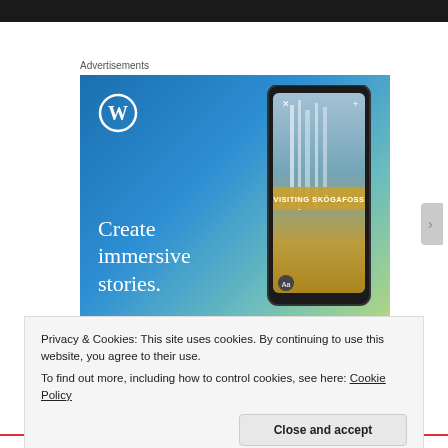[Figure (illustration): WordPress advertisement banner with blue-green gradient background, WordPress logo (W in circle), large white serif text 'Create immersive stories.' on the left, and a phone mockup on the right showing a waterfall photo with 'VISITING SKÓGAFOSS' label overlay.]
Advertisements
Privacy & Cookies: This site uses cookies. By continuing to use this website, you agree to their use.
To find out more, including how to control cookies, see here: Cookie Policy